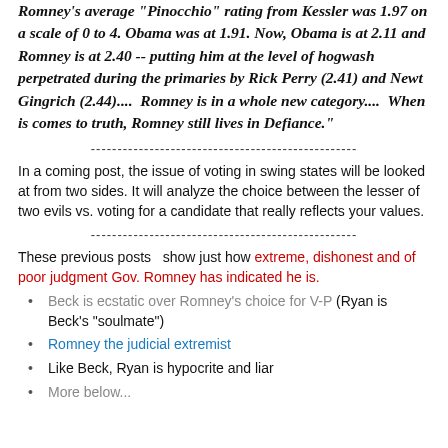Romney's average "Pinocchio" rating from Kessler was 1.97 on a scale of 0 to 4. Obama was at 1.91. Now, Obama is at 2.11 and Romney is at 2.40 -- putting him at the level of hogwash perpetrated during the primaries by Rick Perry (2.41) and Newt Gingrich (2.44)....  Romney is in a whole new category....  When is comes to truth, Romney still lives in Defiance."
---------------------------------------------------
In a coming post, the issue of voting in swing states will be looked at from two sides. It will analyze the choice between the lesser of two evils vs. voting for a candidate that really reflects your values.
---------------------------------------------------
These previous posts  show just how extreme, dishonest and of poor judgment Gov. Romney has indicated he is.
Beck is ecstatic over Romney's choice for V-P (Ryan is Beck's "soulmate")
Romney the judicial extremist
Like Beck, Ryan is hypocrite and liar
More below...